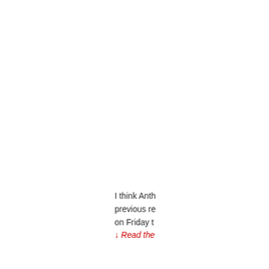I think Anth previous re on Friday t ↓ Read the
Share this:
[Figure (illustration): Facebook share button (blue circle with white Facebook 'f' logo) and Reddit share button (grey circle with white Reddit alien logo)]
Tags: #B
Broken
on April 5, 2